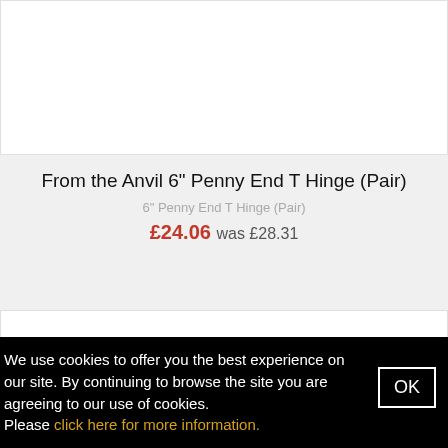[Figure (photo): Product image area (top) — white rectangle placeholder for From the Anvil 6" Penny End T Hinge product photo]
From the Anvil 6" Penny End T Hinge (Pair)
6" Penny End T Hinge (Pair)
£24.06 was £28.31
[Figure (photo): Product image area (bottom) — white rectangle placeholder for a second product photo]
We use cookies to offer you the best experience on our site. By continuing to browse the site you are agreeing to our use of cookies. Please click here for more information.